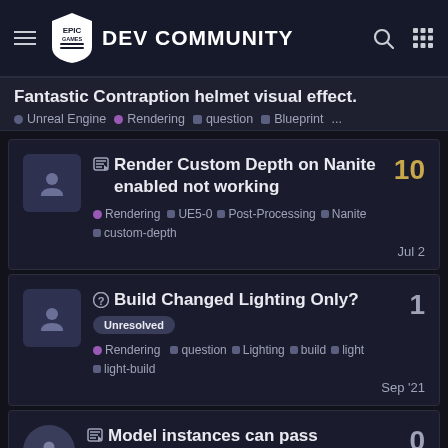Epic Games DEV COMMUNITY
Fantastic Contraption helmet visual effect.
Unreal Engine  • Rendering  ▪ question  ▪ Blueprint  ...
Render Custom Depth on Nanite enabled not working
• Rendering  ▪ UE5-0  ▪ Post-Processing  ▪ Nanite  ▪ custom-depth  —  Jul 2  — replies: 10
Build Changed Lighting Only?  Unresolved
• Rendering  ▪ question  ▪ Lighting  ▪ build  ▪ light  ▪ light-build  —  Sep '21  — replies: 1
Model instances can pass